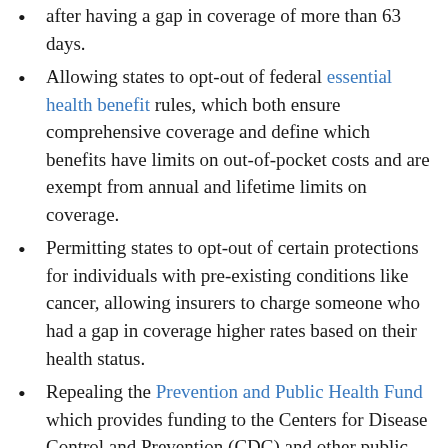after having a gap in coverage of more than 63 days.
Allowing states to opt-out of federal essential health benefit rules, which both ensure comprehensive coverage and define which benefits have limits on out-of-pocket costs and are exempt from annual and lifetime limits on coverage.
Permitting states to opt-out of certain protections for individuals with pre-existing conditions like cancer, allowing insurers to charge someone who had a gap in coverage higher rates based on their health status.
Repealing the Prevention and Public Health Fund which provides funding to the Centers for Disease Control and Prevention (CDC) and other public health agencies for things like immunization and tobacco awareness